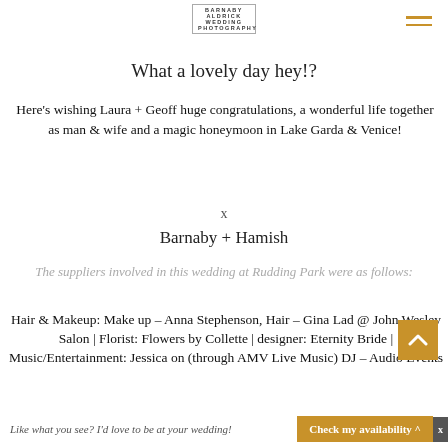BARNABY ALDRICK WEDDING PHOTOGRAPHY
What a lovely day hey!?
Here's wishing Laura + Geoff huge congratulations, a wonderful life together as man & wife and a magic honeymoon in Lake Garda & Venice!
x
Barnaby + Hamish
The suppliers involved in this wedding at Rudding Park were as follows:
Hair & Makeup: Make up – Anna Stephenson, Hair – Gina Lad @ John Wesley Salon | Florist: Flowers by Collette | designer: Eternity Bride | Music/Entertainment: Jessica on (through AMV Live Music) DJ – Audio Events